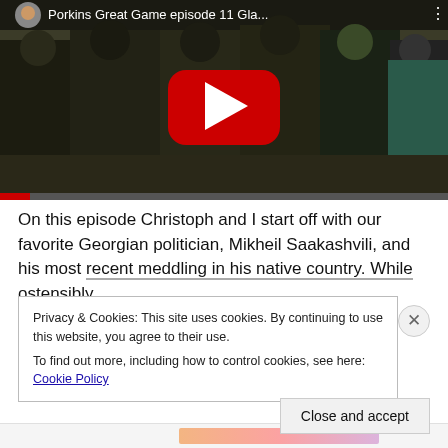[Figure (screenshot): YouTube video thumbnail showing armed soldiers in camouflage with a red play button overlay. Title bar reads 'Porkins Great Game episode 11 Gla...']
On this episode Christoph and I start off with our favorite Georgian politician, Mikheil Saakashvili, and his most recent meddling in his native country. While ostensibly
Privacy & Cookies: This site uses cookies. By continuing to use this website, you agree to their use.
To find out more, including how to control cookies, see here: Cookie Policy
Close and accept